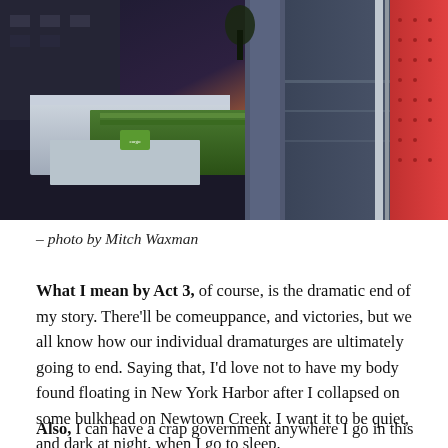[Figure (photo): Aerial/overhead view of freight trucks and shipping containers between industrial buildings, with warm sunset sky in background and a red metal structure on the right side.]
– photo by Mitch Waxman
What I mean by Act 3, of course, is the dramatic end of my story. There'll be comeuppance, and victories, but we all know how our individual dramaturges are ultimately going to end. Saying that, I'd love not to have my body found floating in New York Harbor after I collapsed on some bulkhead on Newtown Creek. I want it to be quiet, and dark at night, when I go to sleep.
Also, I can have a crap government anywhere I go in this